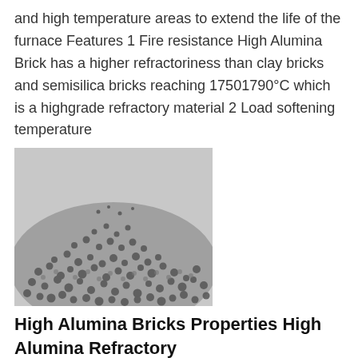and high temperature areas to extend the life of the furnace Features 1 Fire resistance High Alumina Brick has a higher refractoriness than clay bricks and semisilica bricks reaching 17501790°C which is a highgrade refractory material 2 Load softening temperature
[Figure (photo): A pile of small dark granular refractory material particles (high alumina aggregate/bauxite), photographed against a light background.]
High Alumina Bricks Properties High Alumina Refractory
2018926 When the Phosphate Bonded Alumina Brick with Al2O3 content greater than 72 when there is no solvent the stable solid phase at high temperature is mullite and corundum and the